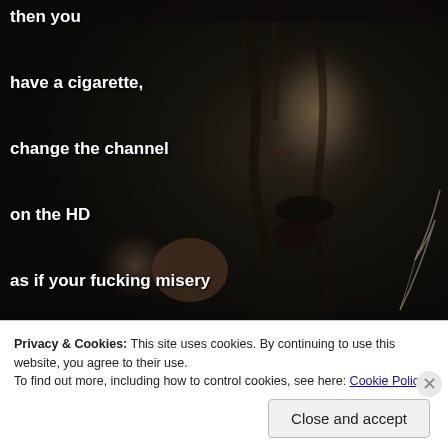[Figure (photo): Dark dramatic photo of a young woman with wet hair, eyes closed, mouth open in anguish, holding something in a clenched fist. Dark background with rain or mist. A feather or plant element visible on the right side.]
then you

have a cigarette,

change the channel

on the HD

as if your fucking misery

is all my fucking fault.

but

& still
Privacy & Cookies: This site uses cookies. By continuing to use this website, you agree to their use.
To find out more, including how to control cookies, see here: Cookie Policy
Close and accept